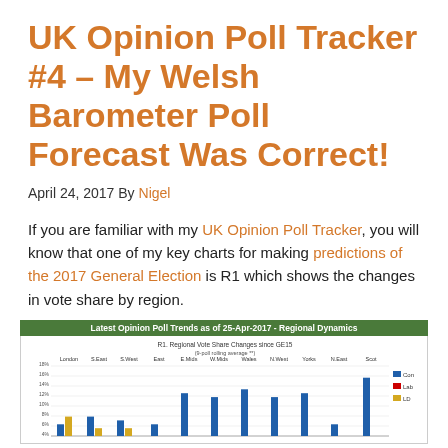UK Opinion Poll Tracker #4 – My Welsh Barometer Poll Forecast Was Correct!
April 24, 2017 By Nigel
If you are familiar with my UK Opinion Poll Tracker, you will know that one of my key charts for making predictions of the 2017 General Election is R1 which shows the changes in vote share by region.
[Figure (grouped-bar-chart): Latest Opinion Poll Trends as of 25-Apr-2017 - Regional Dynamics]